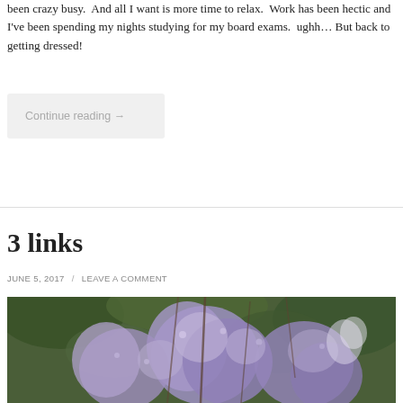been crazy busy.  And all I want is more time to relax.  Work has been hectic and I've been spending my nights studying for my board exams.  ughh… But back to getting dressed!
Continue reading →
3 links
JUNE 5, 2017 / LEAVE A COMMENT
[Figure (photo): Close-up photograph of purple wisteria flowers hanging in clusters with green foliage in the background]